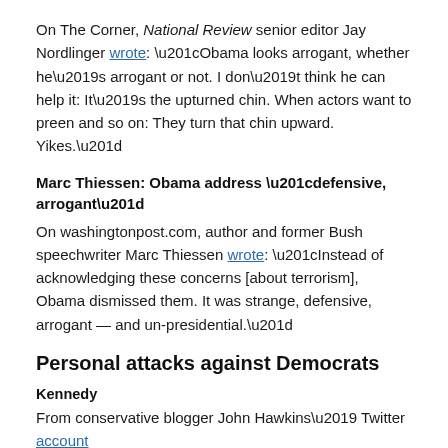On The Corner, National Review senior editor Jay Nordlinger wrote: “Obama looks arrogant, whether he’s arrogant or not. I don’t think he can help it: It’s the upturned chin. When actors want to preen and so on: They turn that chin upward. Yikes.”
Marc Thiessen: Obama address “defensive, arrogant”
On washingtonpost.com, author and former Bush speechwriter Marc Thiessen wrote: “Instead of acknowledging these concerns [about terrorism], Obama dismissed them. It was strange, defensive, arrogant — and un-presidential.”
Personal attacks against Democrats
Kennedy
From conservative blogger John Hawkins’ Twitter account